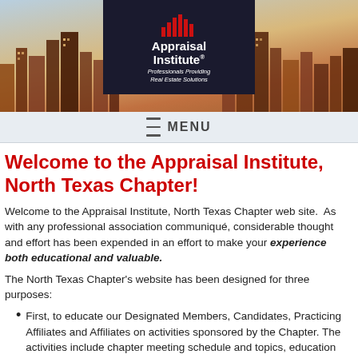[Figure (photo): Appraisal Institute banner with city skyline background (left: urban buildings, right: urban skyline with sunset tones) and centered logo box showing Appraisal Institute logo with red bar chart icon, white text 'Appraisal Institute®', subtitle 'Professionals Providing Real Estate Solutions']
≡  MENU
Welcome to the Appraisal Institute, North Texas Chapter!
Welcome to the Appraisal Institute, North Texas Chapter web site.  As with any professional association communiqué, considerable thought and effort has been expended in an effort to make your experience both educational and valuable.
The North Texas Chapter's website has been designed for three purposes:
First, to educate our Designated Members, Candidates, Practicing Affiliates and Affiliates on activities sponsored by the Chapter. The activities include chapter meeting schedule and topics, education offerings, employment opportunities,